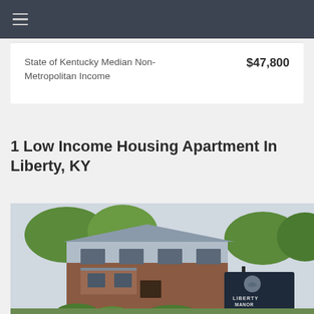State of Kentucky Median Non-Metropolitan Income
1 Low Income Housing Apartment In Liberty, KY
[Figure (photo): Exterior photo of Liberty Manor apartment complex showing brick building with balconies, trees, and a Liberty Manor sign in the foreground]